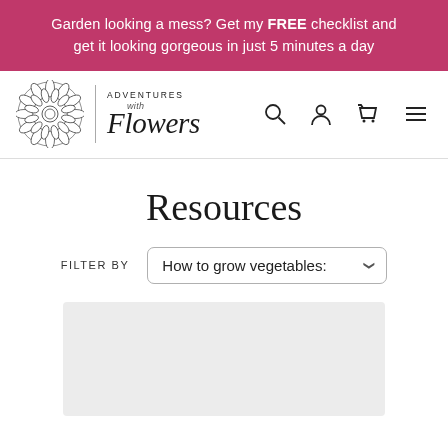Garden looking a mess? Get my FREE checklist and get it looking gorgeous in just 5 minutes a day
[Figure (logo): Adventures with Flowers logo — circular dahlia flower illustration with text 'ADVENTURES with Flowers' in script]
Resources
FILTER BY   How to grow vegetables: